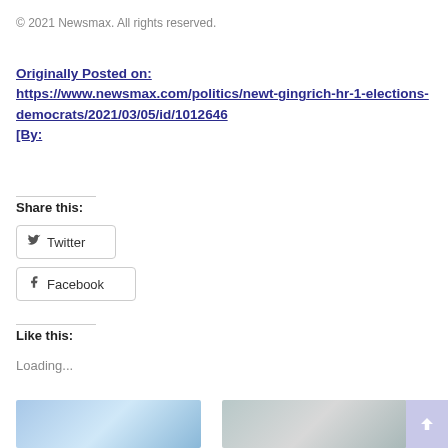© 2021 Newsmax. All rights reserved.
Originally Posted on: https://www.newsmax.com/politics/newt-gingrich-hr-1-elections-democrats/2021/03/05/id/1012646
[By:
Share this:
Twitter
Facebook
Like this:
Loading...